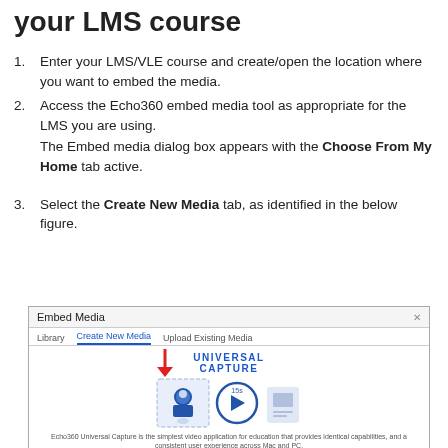your LMS course
Enter your LMS/VLE course and create/open the location where you want to embed the media.
Access the Echo360 embed media tool as appropriate for the LMS you are using. The Embed media dialog box appears with the Choose From My Home tab active.
Select the Create New Media tab, as identified in the below figure.
[Figure (screenshot): Screenshot of the Echo360 Embed Media dialog box showing the Create New Media tab selected with a red arrow pointing to it. The tab bar shows Library, Create New Media, and Upload Existing Media. Below is a Universal Capture section with an icon showing a person and a video play button. Caption reads: Echo360 Universal Capture is the simplest video application for education that provides identical capabilities, and a consistent user experience across Mac and PC.]